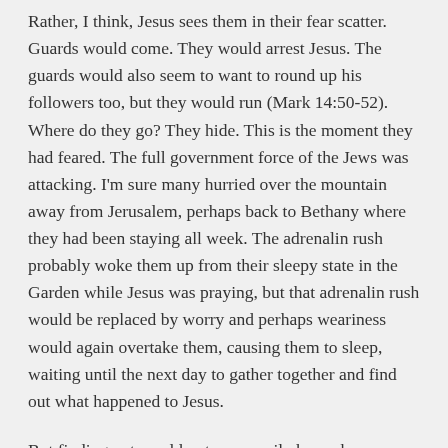Rather, I think, Jesus sees them in their fear scatter. Guards would come. They would arrest Jesus. The guards would also seem to want to round up his followers too, but they would run (Mark 14:50-52). Where do they go? They hide. This is the moment they had feared. The full government force of the Jews was attacking. I'm sure many hurried over the mountain away from Jerusalem, perhaps back to Bethany where they had been staying all week. The adrenalin rush probably woke them up from their sleepy state in the Garden while Jesus was praying, but that adrenalin rush would be replaced by worry and perhaps weariness would again overtake them, causing them to sleep, waiting until the next day to gather together and find out what happened to Jesus.
But finding out would not necessarily be such an easy matter. We see these events of arrest, Sanhedrin trial, before